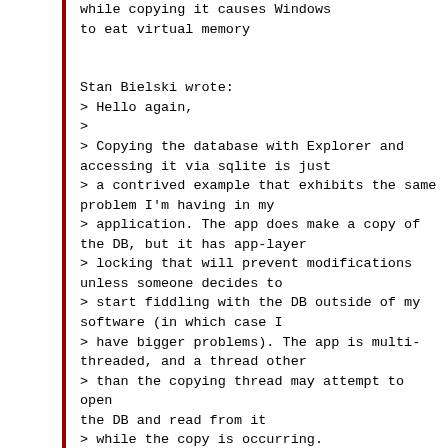while copying it causes Windows
to eat virtual memory


Stan Bielski wrote:
> Hello again,
>
> Copying the database with Explorer and accessing it via sqlite is just
> a contrived example that exhibits the same problem I'm having in my
> application. The app does make a copy of the DB, but it has app-layer
> locking that will prevent modifications unless someone decides to
> start fiddling with the DB outside of my software (in which case I
> have bigger problems). The app is multi-threaded, and a thread other
> than the copying thread may attempt to open the DB and read from it
> while the copy is occurring.
>